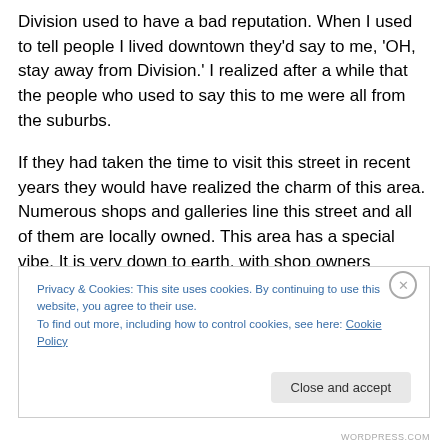Division used to have a bad reputation. When I used to tell people I lived downtown they'd say to me, 'OH, stay away from Division.' I realized after a while that the people who used to say this to me were all from the suburbs.
If they had taken the time to visit this street in recent years they would have realized the charm of this area. Numerous shops and galleries line this street and all of them are locally owned. This area has a special vibe. It is very down to earth, with shop owners accepting the old buildings for what they are and working with that, instead
Privacy & Cookies: This site uses cookies. By continuing to use this website, you agree to their use.
To find out more, including how to control cookies, see here: Cookie Policy
Close and accept
WORDPRESS.COM